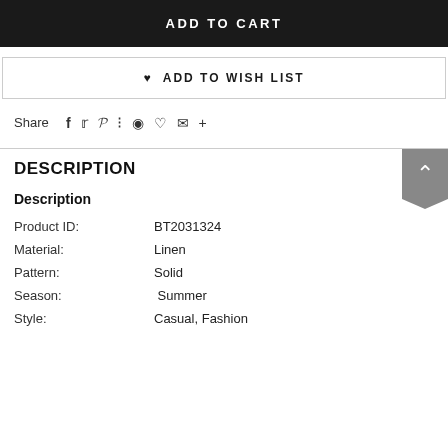ADD TO CART
♥ ADD TO WISH LIST
Share  f  𝕥  𝕡  ⋮  ♟  ♡  ✉  +
DESCRIPTION
Description
| Product ID: | BT2031324 |
| Material: | Linen |
| Pattern: | Solid |
| Season: | Summer |
| Style: | Casual, Fashion |